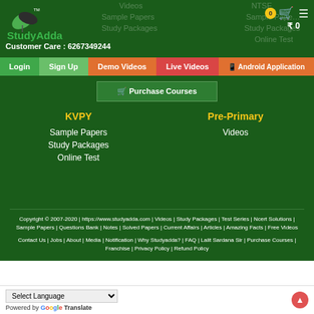[Figure (logo): StudyAdda logo with leaf icon]
Customer Care : 6267349244
Login  Sign Up  Demo Videos  Live Videos  Android Application
Purchase Courses
KVPY
Sample Papers
Study Packages
Online Test
Pre-Primary
Videos
Copyright © 2007-2020 | https://www.studyadda.com | Videos | Study Packages | Test Series | Ncert Solutions | Sample Papers | Questions Bank | Notes | Solved Papers | Current Affairs | Articles | Amazing Facts | Free Videos
Contact Us | Jobs | About | Media | Notification | Why Studyadda? | FAQ | Lalit Sardana Sir | Purchase Courses | Franchise | Privacy Policy | Refund Policy
Select Language
Powered by Google Translate